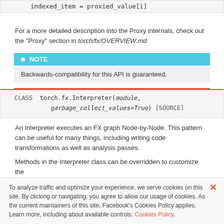indexed_item = proxied_value[i]
For a more detailed description into the Proxy internals, check out the “Proxy” section in torch/fx/OVERVIEW.md
● NOTE
Backwards-compatibility for this API is guaranteed.
CLASS torch.fx.Interpreter(module, garbage_collect_values=True) [SOURCE]
An Interpreter executes an FX graph Node-by-Node. This pattern can be useful for many things, including writing code transformations as well as analysis passes.
Methods in the Interpreter class can be overridden to customize the
To analyze traffic and optimize your experience, we serve cookies on this site. By clicking or navigating, you agree to allow our usage of cookies. As the current maintainers of this site, Facebook’s Cookies Policy applies. Learn more, including about available controls: Cookies Policy.